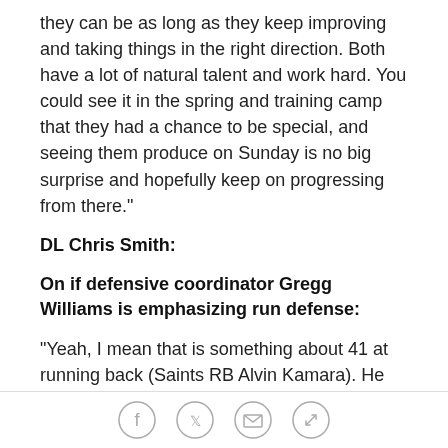they can be as long as they keep improving and taking things in the right direction. Both have a lot of natural talent and work hard. You could see it in the spring and training camp that they had a chance to be special, and seeing them produce on Sunday is no big surprise and hopefully keep on progressing from there."
DL Chris Smith:
On if defensive coordinator Gregg Williams is emphasizing run defense:
"Yeah, I mean that is something about 41 at running back (Saints RB Alvin Kamara). He can do a lot of special things so that is one thing about it. We have to make them one-dimensional, and (Saints QB) Drew Brees, we even have to slow him down in the passing
Social share icons: Facebook, Twitter, Email, Link